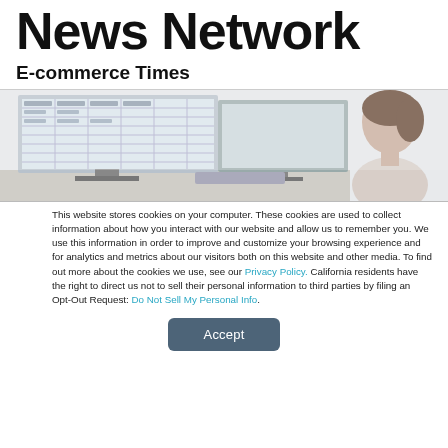News Network
E-commerce Times
[Figure (photo): Woman looking at a computer monitor displaying spreadsheet data]
This website stores cookies on your computer. These cookies are used to collect information about how you interact with our website and allow us to remember you. We use this information in order to improve and customize your browsing experience and for analytics and metrics about our visitors both on this website and other media. To find out more about the cookies we use, see our Privacy Policy. California residents have the right to direct us not to sell their personal information to third parties by filing an Opt-Out Request: Do Not Sell My Personal Info.
Accept